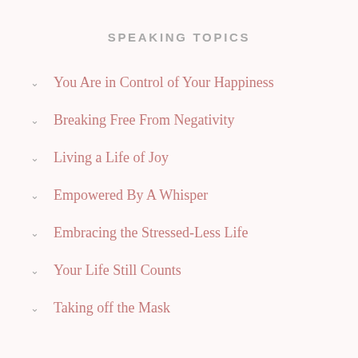SPEAKING TOPICS
You Are in Control of Your Happiness
Breaking Free From Negativity
Living a Life of Joy
Empowered By A Whisper
Embracing the Stressed-Less Life
Your Life Still Counts
Taking off the Mask